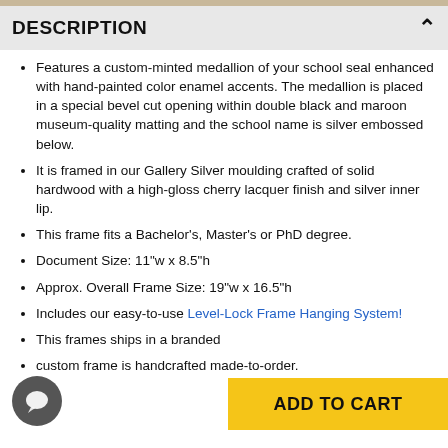DESCRIPTION
Features a custom-minted medallion of your school seal enhanced with hand-painted color enamel accents. The medallion is placed in a special bevel cut opening within double black and maroon museum-quality matting and the school name is silver embossed below.
It is framed in our Gallery Silver moulding crafted of solid hardwood with a high-gloss cherry lacquer finish and silver inner lip.
This frame fits a Bachelor's, Master's or PhD degree.
Document Size: 11"w x 8.5"h
Approx. Overall Frame Size: 19"w x 16.5"h
Includes our easy-to-use Level-Lock Frame Hanging System!
This frames ships in a branded
custom frame is handcrafted made-to-order.